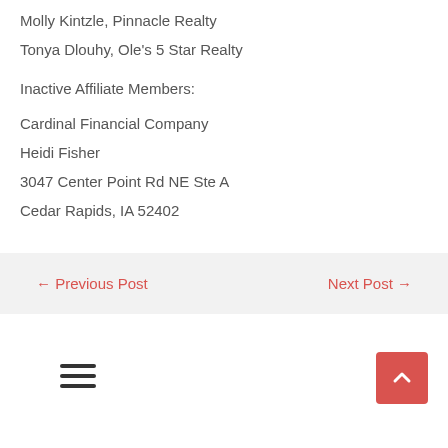Molly Kintzle, Pinnacle Realty
Tonya Dlouhy, Ole's 5 Star Realty
Inactive Affiliate Members:
Cardinal Financial Company
Heidi Fisher
3047 Center Point Rd NE Ste A
Cedar Rapids, IA 52402
← Previous Post    Next Post →